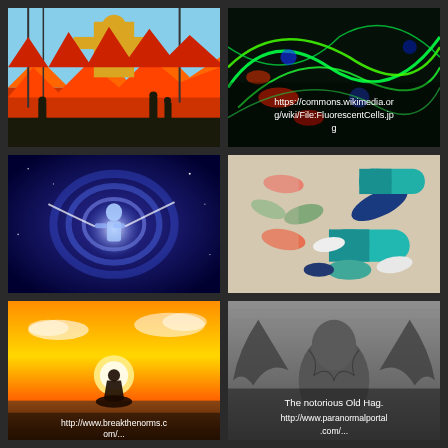[Figure (illustration): Artistic illustration of a golden Buddha statue amid flames and battle scene with ships and soldiers, orange and red tones]
https://commons.wikimedia.org/wiki/File:FluorescentCells.jpg
[Figure (photo): Fluorescent microscopy image of cells with bright green and red fluorescent staining against dark background]
[Figure (illustration): Mystical blue cosmic scene with a figure surrounded by glowing blue and white energy swirls against a deep blue/purple galaxy background]
[Figure (photo): Close-up photo of various colorful pharmaceutical pills and capsules including teal, blue, orange, white, and green tablets scattered on a surface]
http://www.breakthenorms.com/
[Figure (photo): Silhouette of a person meditating in lotus position against a dramatic orange and yellow sunset sky with clouds]
The notorious Old Hag.
http://www.paranormalportal.com/
[Figure (illustration): Grayscale engraving or illustration of a demonic or supernatural creature known as the Old Hag, with large wings and grotesque form]